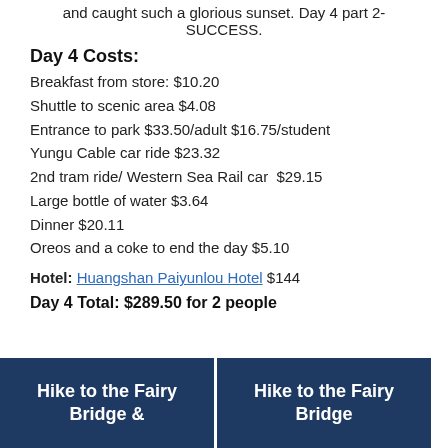and caught such a glorious sunset. Day 4 part 2- SUCCESS.
Day 4 Costs:
Breakfast from store: $10.20
Shuttle to scenic area $4.08
Entrance to park $33.50/adult $16.75/student
Yungu Cable car ride $23.32
2nd tram ride/ Western Sea Rail car  $29.15
Large bottle of water $3.64
Dinner $20.11
Oreos and a coke to end the day $5.10
Hotel: Huangshan Paiyunlou Hotel $144
Day 4 Total: $289.50 for 2 people
[Figure (other): Two blue banner images: 'Hike to the Fairy Bridge &' and 'Hike to the Fairy Bridge']